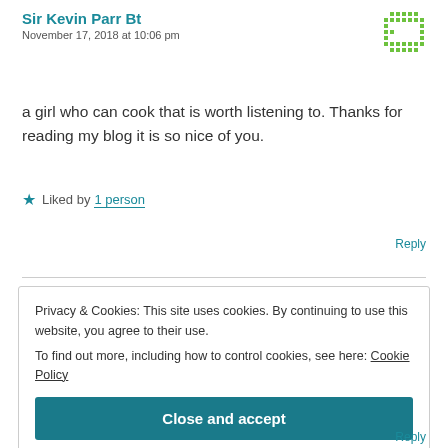Sir Kevin Parr Bt
November 17, 2018 at 10:06 pm
a girl who can cook that is worth listening to. Thanks for reading my blog it is so nice of you.
★ Liked by 1 person
Reply
Privacy & Cookies: This site uses cookies. By continuing to use this website, you agree to their use.
To find out more, including how to control cookies, see here: Cookie Policy
Close and accept
Reply